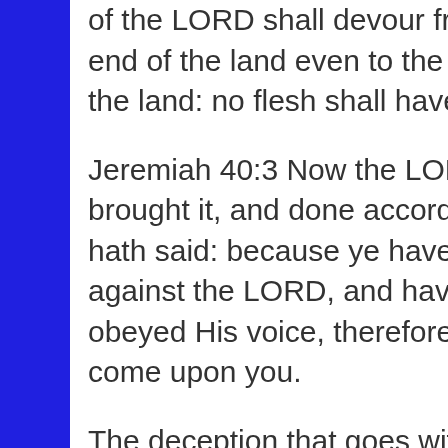of the LORD shall devour from the one end of the land even to the other end of the land: no flesh shall have peace.
Jeremiah 40:3 Now the LORD hath brought it, and done according as He hath said: because ye have sinned against the LORD, and have not obeyed His voice, therefore this thing is come upon you.
The deception that goes with the coronavirus and